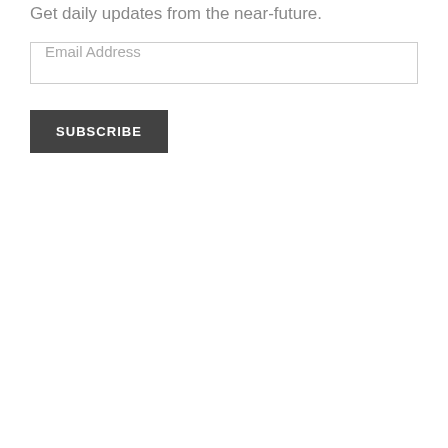Get daily updates from the near-future.
Email Address
SUBSCRIBE